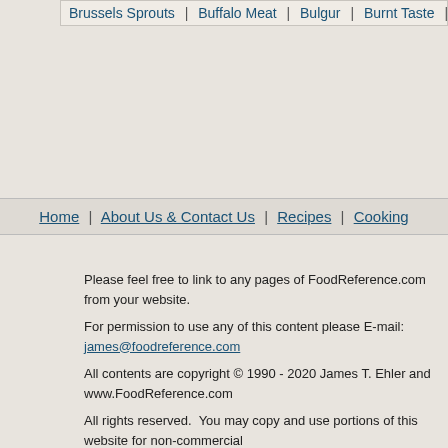Brussels Sprouts | Buffalo Meat | Bulgur | Burnt Taste
Home | About Us & Contact Us | Recipes | Cooking
Please feel free to link to any pages of FoodReference.com from your website.
For permission to use any of this content please E-mail: james@foodreference.com
All contents are copyright © 1990 - 2020 James T. Ehler and www.FoodReference.com
All rights reserved.  You may copy and use portions of this website for non-commercial
Any other use of these materials without prior written authorization is not very nice and
Please take the time to request permission.